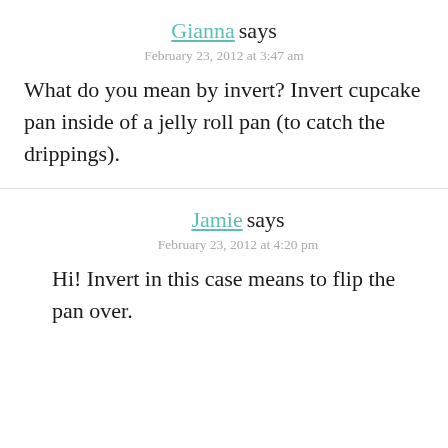Gianna says
February 23, 2012 at 3:47 am
What do you mean by invert? Invert cupcake pan inside of a jelly roll pan (to catch the drippings).
Jamie says
February 23, 2012 at 4:20 pm
Hi! Invert in this case means to flip the pan over.